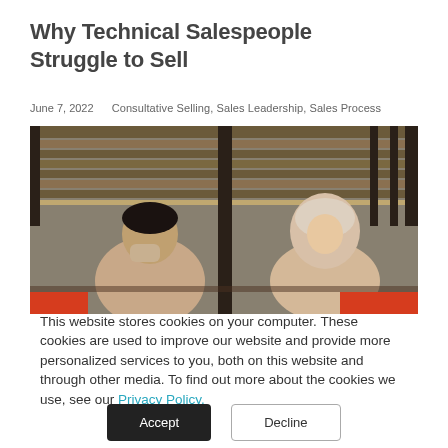Why Technical Salespeople Struggle to Sell
June 7, 2022    Consultative Selling, Sales Leadership, Sales Process
[Figure (photo): Two people in a meeting or workplace setting. A man appears stressed with his hand on his face, and a woman wearing a hijab is visible on the right. Wooden slat background. Red accent bars at the bottom corners.]
This website stores cookies on your computer. These cookies are used to improve our website and provide more personalized services to you, both on this website and through other media. To find out more about the cookies we use, see our Privacy Policy.
Accept
Decline